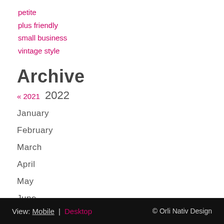petite
plus friendly
small business
vintage style
Archive
« 2021  2022
January
February
March
April
May
June
July
August
View: Mobile | Desktop   © Orli Nativ Design